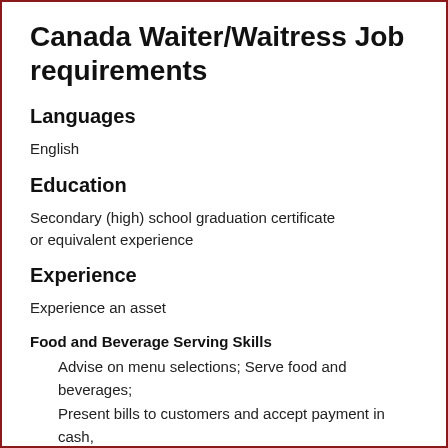Canada Waiter/Waitress Job requirements
Languages
English
Education
Secondary (high) school graduation certificate
or equivalent experience
Experience
Experience an asset
Food and Beverage Serving Skills
Advise on menu selections; Serve food and beverages;
Present bills to customers and accept payment in cash,